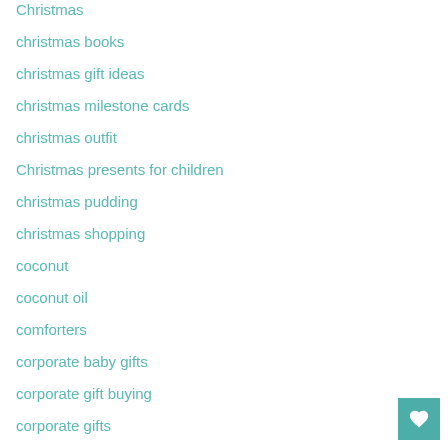Christmas
christmas books
christmas gift ideas
christmas milestone cards
christmas outfit
Christmas presents for children
christmas pudding
christmas shopping
coconut
coconut oil
comforters
corporate baby gifts
corporate gift buying
corporate gifts